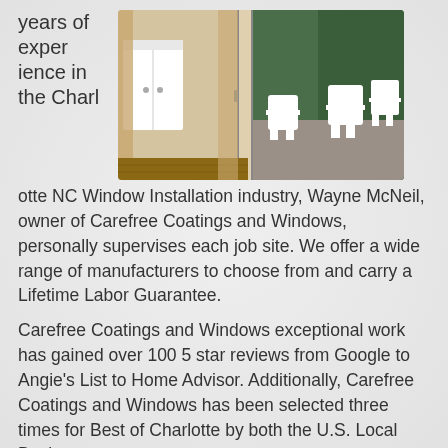years of experience in the Charlotte
[Figure (photo): Interior room view with sliding glass doors opening to an outdoor patio with white Adirondack chairs on a stone surface surrounded by trees]
otte NC Window Installation industry, Wayne McNeil, owner of Carefree Coatings and Windows, personally supervises each job site. We offer a wide range of manufacturers to choose from and carry a Lifetime Labor Guarantee.
Carefree Coatings and Windows exceptional work has gained over 100 5 star reviews from Google to Angie's List to Home Advisor. Additionally, Carefree Coatings and Windows has been selected three times for Best of Charlotte by both the U.S. Local Business